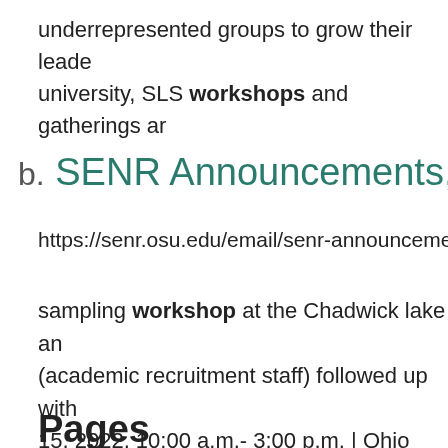underrepresented groups to grow their leadership skills across the university, SLS workshops and gatherings ar…
SENR Announcements, June…
https://senr.osu.edu/email/senr-announcements…
sampling workshop at the Chadwick lake and… (academic recruitment staff) followed up with… 15, 2022, 10:00 a.m.- 3:00 p.m. | Ohio Wood… Program Workshop at Ohio … workshop! Join… Extension Wildlife Specialist in this workshop… identify …
Pages